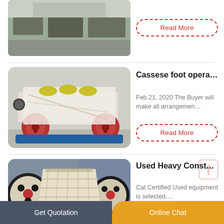[Figure (photo): Industrial machinery / equipment parked in a yard, partially visible at top of page]
Read More
[Figure (photo): Cassese foot operated machine - industrial equipment on wheels, red and white, in a warehouse]
Cassese foot opera…
Feb 21, 2020 The Buyer will make all arrangemen…
Read More
[Figure (photo): Used heavy construction equipment - large jaw crusher machinery, yellow/cream colored with red wheels]
Used Heavy Const…
Cat Certified Used equipment is selected,…
Read Mo…
Get Quotation    Online Chat